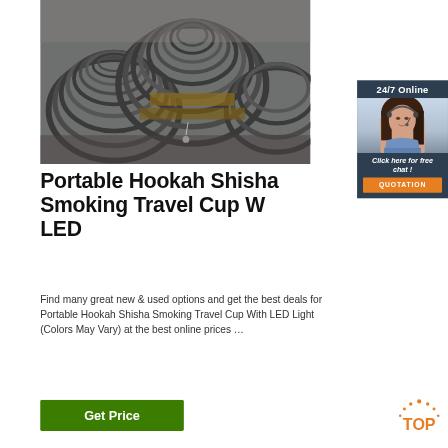[Figure (photo): Photo of coiled metal wire rods bundled together in a warehouse setting, gray/dark colored]
[Figure (infographic): Chat widget showing '24/7 Online' header, a female customer service agent photo, 'Click here for free chat!' text, and an orange QUOTATION button]
Portable Hookah Shisha Smoking Travel Cup With LED
Find many great new & used options and get the best deals for Portable Hookah Shisha Smoking Travel Cup With LED Light (Colors May Vary) at the best online prices …
[Figure (infographic): TOP badge with orange dots and orange text 'TOP' on white background]
Get Price